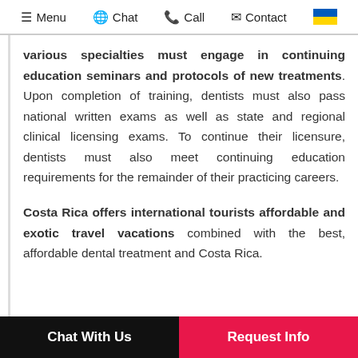Menu | Chat | Call | Contact | [Ukraine flag]
various specialties must engage in continuing education seminars and protocols of new treatments. Upon completion of training, dentists must also pass national written exams as well as state and regional clinical licensing exams. To continue their licensure, dentists must also meet continuing education requirements for the remainder of their practicing careers.
Costa Rica offers international tourists affordable and exotic travel vacations combined with the best, affordable dental treatment and Costa Rica.
Chat With Us | Request Info